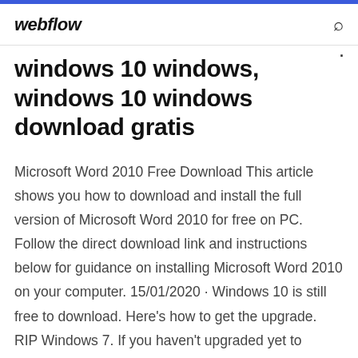webflow
windows 10 windows, windows 10 windows download gratis
Microsoft Word 2010 Free Download This article shows you how to download and install the full version of Microsoft Word 2010 for free on PC. Follow the direct download link and instructions below for guidance on installing Microsoft Word 2010 on your computer. 15/01/2020 · Windows 10 is still free to download. Here's how to get the upgrade. RIP Windows 7. If you haven't upgraded yet to Windows 10, follow these simple steps. Download Microsoft Office 2010 free for all windows versions. You can get fully offline...